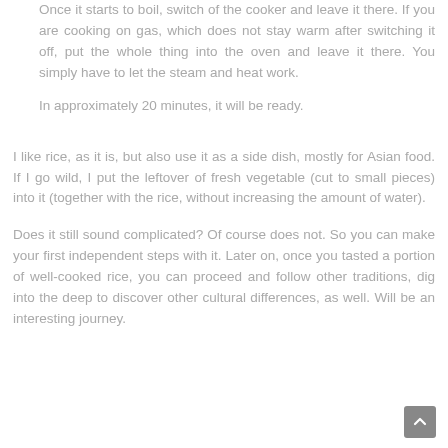Once it starts to boil, switch of the cooker and leave it there. If you are cooking on gas, which does not stay warm after switching it off, put the whole thing into the oven and leave it there. You simply have to let the steam and heat work.
In approximately 20 minutes, it will be ready.
I like rice, as it is, but also use it as a side dish, mostly for Asian food. If I go wild, I put the leftover of fresh vegetable (cut to small pieces) into it (together with the rice, without increasing the amount of water).
Does it still sound complicated? Of course does not. So you can make your first independent steps with it. Later on, once you tasted a portion of well-cooked rice, you can proceed and follow other traditions, dig into the deep to discover other cultural differences, as well. Will be an interesting journey.